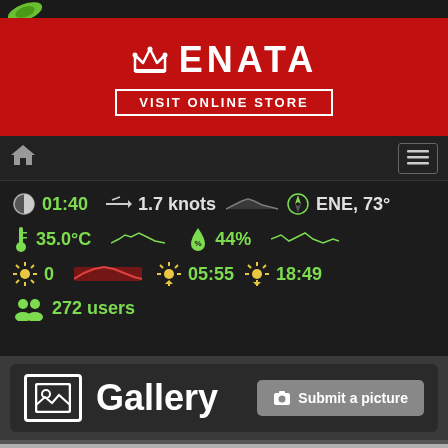[Figure (logo): Enata logo banner with crown icon and VISIT ONLINE STORE button on red background]
Navigation bar with home icon and hamburger menu
01:40   1.7 knots   ENE, 73°
35.0°C   44%
0   05:55   18:49
272 users
Gallery
Submit a picture